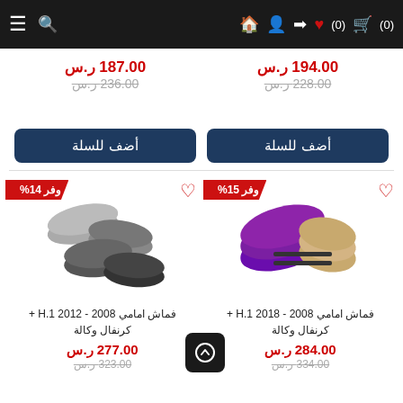Navigation bar with cart (0), wishlist (0), login, add user, home, search, menu icons
ر.س 194.00
ر.س 228.00 (strikethrough)
[Figure (other): 5 empty star rating]
أضف للسلة
ر.س 187.00
ر.س 236.00 (strikethrough)
[Figure (other): 5 empty star rating]
أضف للسلة
وفر 15%
[Figure (photo): Purple and beige brake pads product image]
فماش امامي 2008 - 2018 H.1 + كرنفال وكالة
ر.س 284.00
ر.س 334.00 (strikethrough)
وفر 14%
[Figure (photo): Grey and black brake pads product image]
فماش امامي 2008 - 2012 H.1 + كرنفال وكالة
ر.س 277.00
ر.س 323.00 (strikethrough)